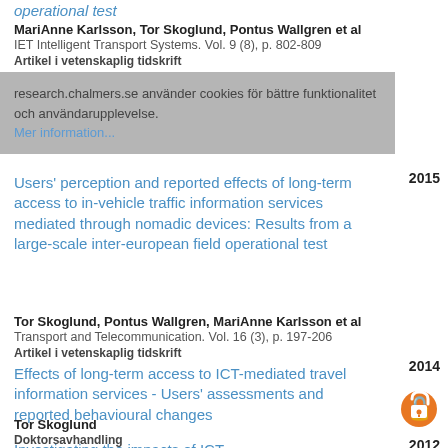operational test (partial title at top)
MariAnne Karlsson, Tor Skoglund, Pontus Wallgren et al
IET Intelligent Transport Systems. Vol. 9 (8), p. 802-809
Artikel i vetenskaplig tidskrift
Cookie banner: research.chalmers.se använder cookies för bättre funktionalitet och användarupplevelse. Mer information...
Users' perception and reported effects of long-term access to in-vehicle traffic information services mediated through nomadic devices: Results from a large-scale inter-european field operational test
2015
Tor Skoglund, Pontus Wallgren, MariAnne Karlsson et al
Transport and Telecommunication. Vol. 16 (3), p. 197-206
Artikel i vetenskaplig tidskrift
Effects of long-term access to ICT-mediated travel information services - Users' assessments and reported behavioural changes
2014
Tor Skoglund
Doktorsavhandling
Investigating the impacts of ICT-
2012